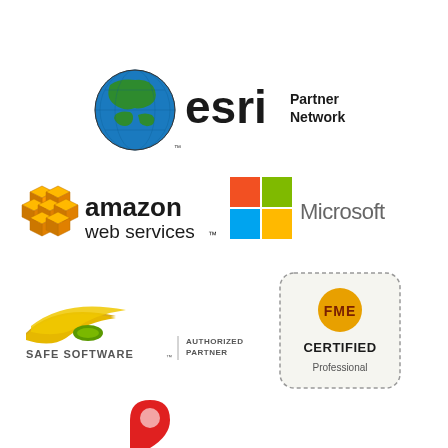[Figure (logo): Esri Partner Network logo with globe icon and text 'esri Partner Network']
[Figure (logo): Amazon Web Services logo with orange cube icons and text 'amazon web services']
[Figure (logo): Microsoft logo with four-color square and text 'Microsoft']
[Figure (logo): Safe Software Authorized Partner logo with swoosh design]
[Figure (logo): FME Certified Professional badge with sunburst design]
[Figure (logo): Partial logo at bottom with red map pin icon (cropped)]